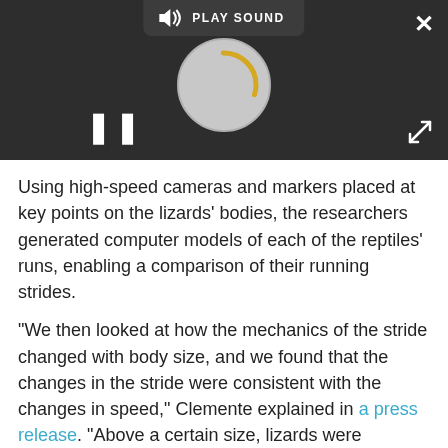[Figure (screenshot): Audio/video media player widget with dark background showing PLAY SOUND label, a loading spinner circle (gray with gold arc), pause button (||), close (X) button top right, and expand arrows bottom right.]
Using high-speed cameras and markers placed at key points on the lizards' bodies, the researchers generated computer models of each of the reptiles' runs, enabling a comparison of their running strides.
"We then looked at how the mechanics of the stride changed with body size, and we found that the changes in the stride were consistent with the changes in speed," Clemente explained in a press release. "Above a certain size, lizards were changing the way they ran, perhaps due to a decreased ability of the bones and muscles to support a larger body